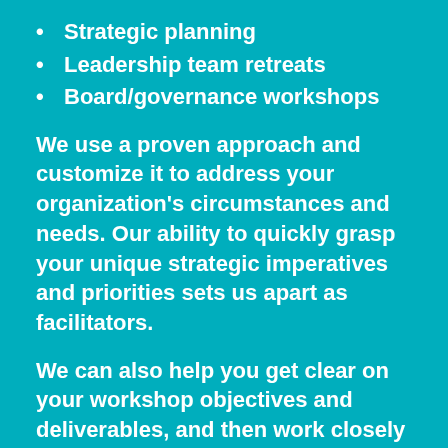Strategic planning
Leadership team retreats
Board/governance workshops
We use a proven approach and customize it to address your organization's circumstances and needs. Our ability to quickly grasp your unique strategic imperatives and priorities sets us apart as facilitators.
We can also help you get clear on your workshop objectives and deliverables, and then work closely with you to design the agenda, identify beneficial pre-work, facilitate the workshop, and support you in completing necessary post-work to get the full value out of your workshop.